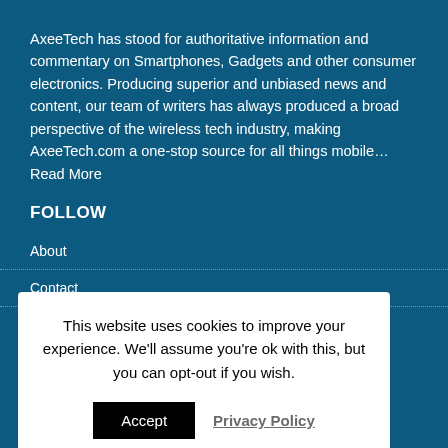AxeeTech has stood for authoritative information and commentary on Smartphones, Gadgets and other consumer electronics. Producing superior and unbiased news and content, our team of writers has always produced a broad perspective of the wireless tech industry, making AxeeTech.com a one-stop source for all things mobile… Read More
FOLLOW
About
Contact
This website uses cookies to improve your experience. We'll assume you're ok with this, but you can opt-out if you wish.
Accept  Privacy Policy